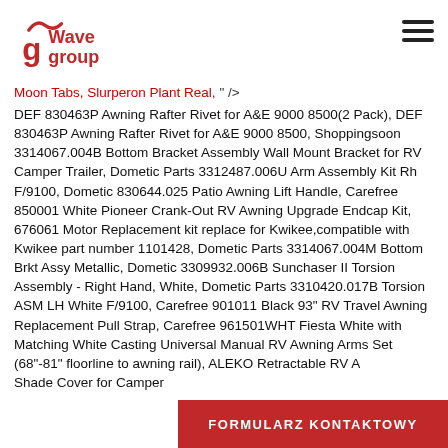[Figure (logo): Wave Group logo in red with stylized 'g' and wave icon]
Moon Tabs, Slurperon Plant Real, " />
DEF 830463P Awning Rafter Rivet for A&E 9000 8500(2 Pack), DEF 830463P Awning Rafter Rivet for A&E 9000 8500, Shoppingsoon 3314067.004B Bottom Bracket Assembly Wall Mount Bracket for RV Camper Trailer, Dometic Parts 3312487.006U Arm Assembly Kit Rh F/9100, Dometic 830644.025 Patio Awning Lift Handle, Carefree 850001 White Pioneer Crank-Out RV Awning Upgrade Endcap Kit, 676061 Motor Replacement kit replace for Kwikee,compatible with Kwikee part number 1101428, Dometic Parts 3314067.004M Bottom Brkt Assy Metallic, Dometic 3309932.006B Sunchaser II Torsion Assembly - Right Hand, White, Dometic Parts 3310420.017B Torsion ASM LH White F/9100, Carefree 901011 Black 93" RV Travel Awning Replacement Pull Strap, Carefree 961501WHT Fiesta White with Matching White Casting Universal Manual RV Awning Arms Set (68"-81" floorline to awning rail), ALEKO Retractable RV A... Shade Cover for Camper...
FORMULARZ KONTAKTOWY